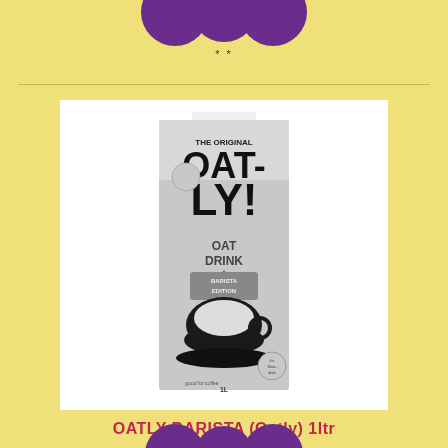[Figure (illustration): Three purple decorative circles/dots partially visible at top of page]
**
[Figure (photo): Oatly Barista Edition 1 litre oat drink carton. Grey carton with black bold text reading THE ORIGINAL OATLY! OAT DRINK BARISTA EDITION with an illustration of a coffee cup. Badge reads 'it's Swedish'.]
OATLY BARISTA (Oatly) 1ltr
£2.19
[Figure (illustration): Three purple decorative circles/dots partially visible at bottom of page]